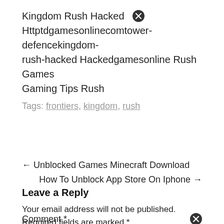Kingdom Rush Hacked ✕ Httptdgamesonlinecomtower-defencekingdom-rush-hacked Hackedgamesonline Rush Games Gaming Tips Rush
Tags: frontiers, kingdom, rush
← Unblocked Games Minecraft Download
How To Unblock App Store On Iphone →
Leave a Reply
Your email address will not be published. Required fields are marked *
Comment * ✕